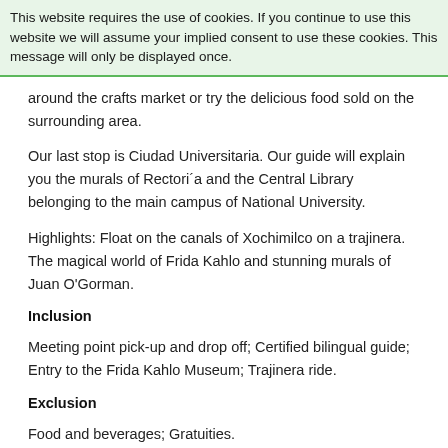This website requires the use of cookies. If you continue to use this website we will assume your implied consent to use these cookies. This message will only be displayed once.
around the crafts market or try the delicious food sold on the surrounding area.
Our last stop is Ciudad Universitaria. Our guide will explain you the murals of Rectori´a and the Central Library belonging to the main campus of National University.
Highlights: Float on the canals of Xochimilco on a trajinera. The magical world of Frida Kahlo and stunning murals of Juan O'Gorman.
Inclusion
Meeting point pick-up and drop off; Certified bilingual guide; Entry to the Frida Kahlo Museum; Trajinera ride.
Exclusion
Food and beverages; Gratuities.
Hours of operation